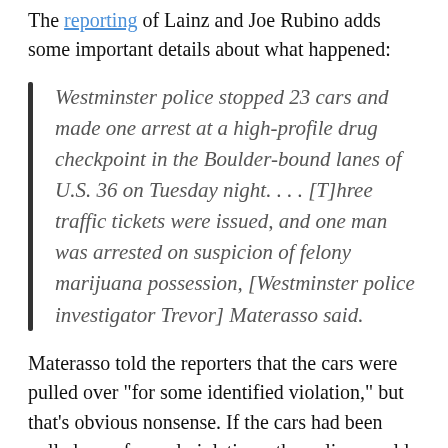The reporting of Lainz and Joe Rubino adds some important details about what happened:
Westminster police stopped 23 cars and made one arrest at a high-profile drug checkpoint in the Boulder-bound lanes of U.S. 36 on Tuesday night. . . . [T]hree traffic tickets were issued, and one man was arrested on suspicion of felony marijuana possession, [Westminster police investigator Trevor] Materasso said.
Materasso told the reporters that the cars were pulled over “for some identified violation,” but that’s obvious nonsense. If the cars had been pulled over for real violations, the police would